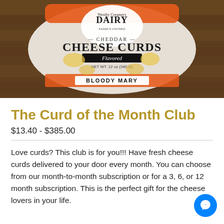[Figure (photo): A bag of Westby Creamery Dairy Cheddar Cheese Curds, Bloody Mary flavor, NET WT. 12 oz (340 G), on a wooden surface.]
The Curd of the Month Club
$13.40 - $385.00
Love curds? This club is for you!!! Have fresh cheese curds delivered to your door every month. You can choose from our month-to-month subscription or for a 3, 6, or 12 month subscription. This is the perfect gift for the cheese lovers in your life.